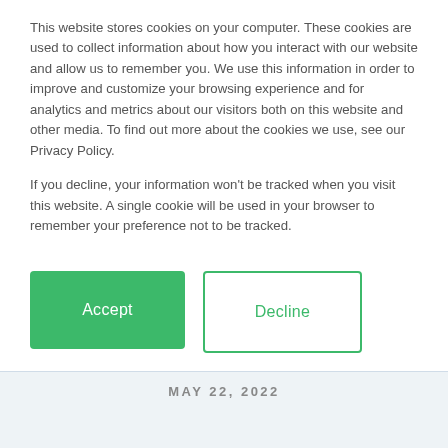This website stores cookies on your computer. These cookies are used to collect information about how you interact with our website and allow us to remember you. We use this information in order to improve and customize your browsing experience and for analytics and metrics about our visitors both on this website and other media. To find out more about the cookies we use, see our Privacy Policy.
If you decline, your information won't be tracked when you visit this website. A single cookie will be used in your browser to remember your preference not to be tracked.
[Figure (other): Two buttons: a green filled 'Accept' button and a green outlined 'Decline' button]
May 22, 2022
[Figure (logo): Greenlight Guru logo with hexagon icon and green italic wordmark 'greenlight guru', above title text 'GREENLIGHT GURU INTRODUCES']